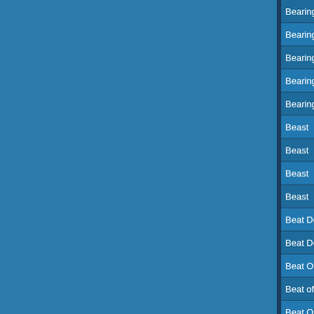| Title |  |
| --- | --- |
| Bearing Gruesome Cargo |  |
| Bearing Gruesome Cargo |  |
| Bearing Gruesome Cargo |  |
| Bearing Gruesome Cargo |  |
| Bearing The Plague |  |
| Beast |  |
| Beast |  |
| Beast |  |
| Beast |  |
| Beat Dependent |  |
| Beat Dependent |  |
| Beat Of The Drum |  |
| Beat of the Drum |  |
| Beat On The Brat |  |
| Beat The Devil |  |
| Beat The System |  |
| Beat the System |  |
| Beat the System |  |
| Beat The … |  |